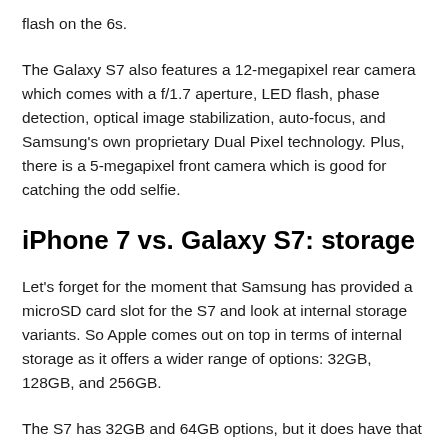flash on the 6s.
The Galaxy S7 also features a 12-megapixel rear camera which comes with a f/1.7 aperture, LED flash, phase detection, optical image stabilization, auto-focus, and Samsung's own proprietary Dual Pixel technology. Plus, there is a 5-megapixel front camera which is good for catching the odd selfie.
iPhone 7 vs. Galaxy S7: storage
Let's forget for the moment that Samsung has provided a microSD card slot for the S7 and look at internal storage variants. So Apple comes out on top in terms of internal storage as it offers a wider range of options: 32GB, 128GB, and 256GB.
The S7 has 32GB and 64GB options, but it does have that